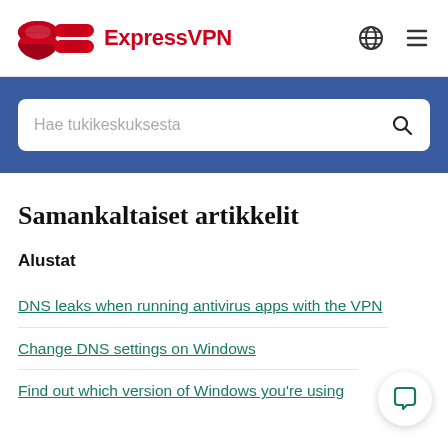ExpressVPN
Hae tukikeskuksesta
Samankaltaiset artikkelit
Alustat
DNS leaks when running antivirus apps with the VPN
Change DNS settings on Windows
Find out which version of Windows you're using